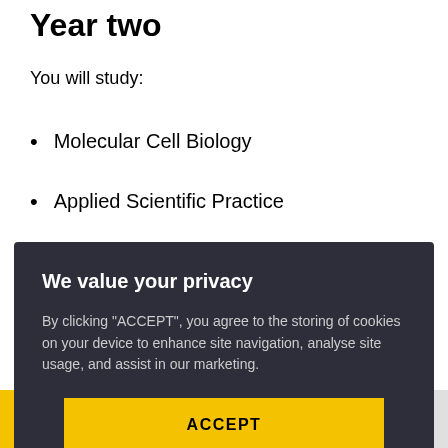Year two
You will study:
Molecular Cell Biology
Applied Scientific Practice
We value your privacy
By clicking “ACCEPT”, you agree to the storing of cookies on your device to enhance site navigation, analyse site usage, and assist in our marketing.
ACCEPT
VIEW COOKIE SETTINGS